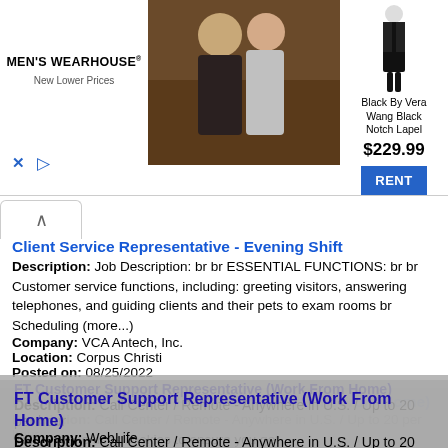[Figure (screenshot): Men's Wearhouse advertisement banner showing a couple in formal wear, a suit mannequin figure, product name 'Black By Vera Wang Black Notch Lapel', price '$229.99', and a blue RENT button]
Client Service Representative - Evening Shift
Description: Job Description: br br ESSENTIAL FUNCTIONS: br br Customer service functions, including: greeting visitors, answering telephones, and guiding clients and their pets to exam rooms br Scheduling (more...)
Company: VCA Antech, Inc.
Location: Corpus Christi
Posted on: 08/25/2022
FT Customer Support Representative (Work From Home)
Description: Call Center / Remote - Anywhere in U.S. / Up to 20 per hour
Company: WebLife
Location: Robstown
Posted on: 08/25/2022
This website uses cookies to ensure you get the best experience on our website...
Learn more   Got it!
CDL A Truck Driver Regional Dedicated
Description: Call us at 888 866-1478 br br Position title br CDL A